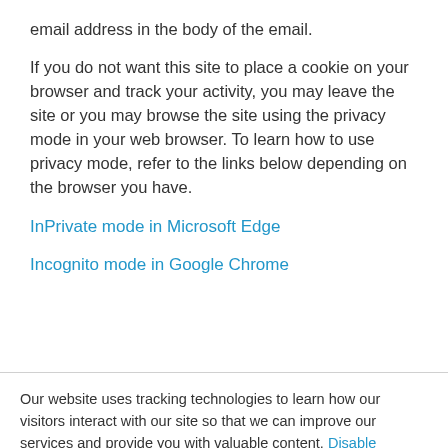email address in the body of the email.
If you do not want this site to place a cookie on your browser and track your activity, you may leave the site or you may browse the site using the privacy mode in your web browser. To learn how to use privacy mode, refer to the links below depending on the browser you have.
InPrivate mode in Microsoft Edge
Incognito mode in Google Chrome
Our website uses tracking technologies to learn how our visitors interact with our site so that we can improve our services and provide you with valuable content. Disable Tracking.
OK